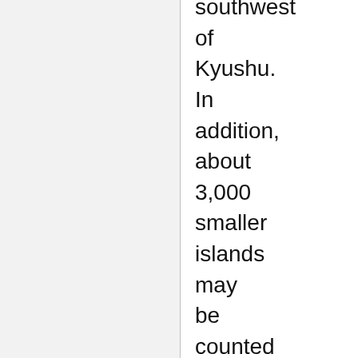southwest of Kyushu. In addition, about 3,000 smaller islands may be counted in the full extent